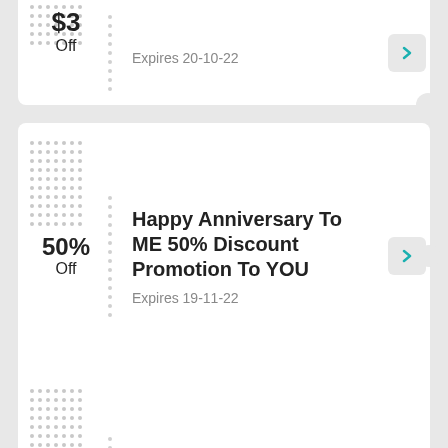$3 Off — Expires 20-10-22
Happy Anniversary To ME 50% Discount Promotion To YOU — 50% Off — Expires 19-11-22
Enjoy 15% Reduction On Select Items — 15% Off — Expires 20-10-22